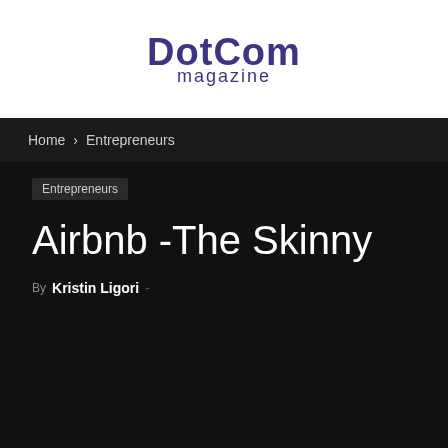[Figure (logo): DotCom Magazine logo with 'DotCom' in bold dark purple and 'magazine' in smaller text below]
Home › Entrepreneurs
Entrepreneurs
Airbnb -The Skinny
By Kristin Ligori -